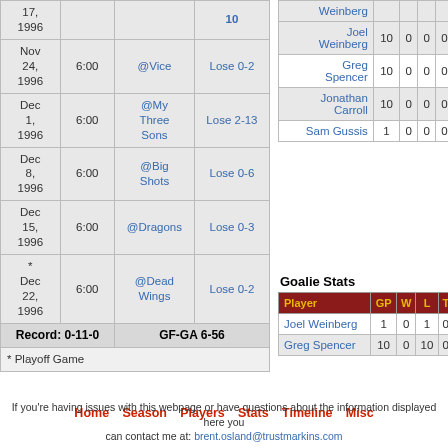| Date | Time | Opponent | Result |
| --- | --- | --- | --- |
| 17, 1996 |  |  | 10 |
| Nov 24, 1996 | 6:00 | @Vice | Lose 0-2 |
| Dec 1, 1996 | 6:00 | @My Three Sons | Lose 2-13 |
| Dec 8, 1996 | 6:00 | @Big Shots | Lose 0-6 |
| Dec 15, 1996 | 6:00 | @Dragons | Lose 0-3 |
| * Dec 22, 1996 | 6:00 | @Dead Wings | Lose 0-2 |
| Record: 0-11-0 |  |  | GF-GA 6-56 |
| Player | GP | W | L | T |
| --- | --- | --- | --- | --- |
| Weinberg |  |  |  |  |
| Joel Weinberg | 10 | 0 | 0 | 0 |
| Greg Spencer | 10 | 0 | 0 | 0 |
| Jonathan Carroll | 10 | 0 | 0 | 0 |
| Sam Gussis | 1 | 0 | 0 | 0 |
Goalie Stats
| Player | GP | W | L | T |
| --- | --- | --- | --- | --- |
| Joel Weinberg | 1 | 0 | 1 | 0 |
| Greg Spencer | 10 | 0 | 10 | 0 |
Home   Season   Players   Stats   Timeline   Misc
If you're having issues with this webpage or have questions about the information displayed here you can contact me at: brent.osland@trustmarkins.com